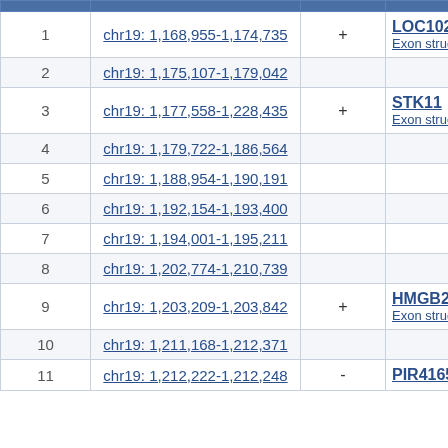|  | Location | Strand | Gene |
| --- | --- | --- | --- |
| 1 | chr19: 1,168,955-1,174,735 | + | LOC102725
Exon struct |
| 2 | chr19: 1,175,107-1,179,042 |  |  |
| 3 | chr19: 1,177,558-1,228,435 | + | STK11
Exon struct |
| 4 | chr19: 1,179,722-1,186,564 |  |  |
| 5 | chr19: 1,188,954-1,190,191 |  |  |
| 6 | chr19: 1,192,154-1,193,400 |  |  |
| 7 | chr19: 1,194,001-1,195,211 |  |  |
| 8 | chr19: 1,202,774-1,210,739 |  |  |
| 9 | chr19: 1,203,209-1,203,842 | + | HMGB2P1
Exon struct |
| 10 | chr19: 1,211,168-1,212,371 |  |  |
| 11 | chr19: 1,212,222-1,212,248 | - | PIR41652 |